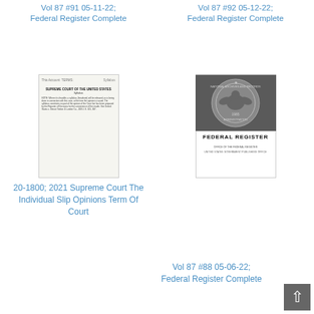Vol 87 #91 05-11-22; Federal Register Complete
Vol 87 #92 05-12-22; Federal Register Complete
[Figure (photo): Thumbnail of Supreme Court document cover page titled SUPREME COURT OF THE UNITED STATES, Syllabus]
[Figure (photo): Thumbnail of Federal Register cover page with NARA seal and title FEDERAL REGISTER]
20-1800; 2021 Supreme Court The Individual Slip Opinions Term Of Court
Vol 87 #88 05-06-22; Federal Register Complete